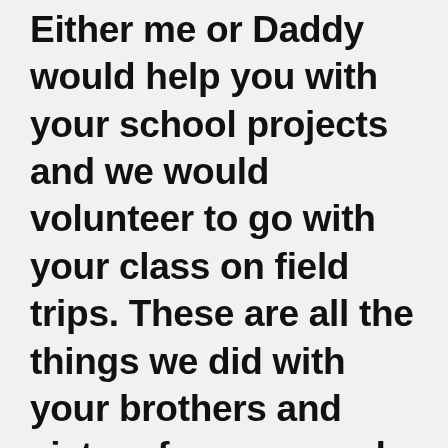Either me or Daddy would help you with your school projects and we would volunteer to go with your class on field trips. These are all the things we did with your brothers and sisters for years and years. It's really ridiculous that CPS took you away from us, well, more than riduculous but for this post I will try to keep my words focused